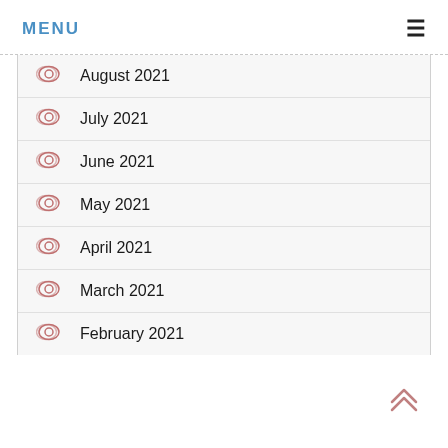MENU
August 2021
July 2021
June 2021
May 2021
April 2021
March 2021
February 2021